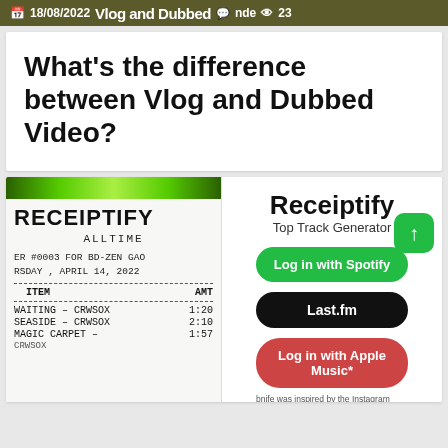18/08/2022  Vlog and Dubbed  nde  23
What's the difference between Vlog and Dubbed Video?
[Figure (screenshot): Receipt-style screenshot showing RECEIPTIFY app with ALLTIME header. Order #0003 for BD-ZEN GAO, Thursday April 14 2022. Items: WAITING – CRWSOX 1:20, SEASIDE – CRWSOX 2:10, MAGIC CARPET – [CRWSOX] 1:57]
[Figure (screenshot): Receiptify Top Track Generator app UI with Log in with Spotify (green button), Last.fm (black button), Log in with Apple Music* (red button), and an upload arrow button]